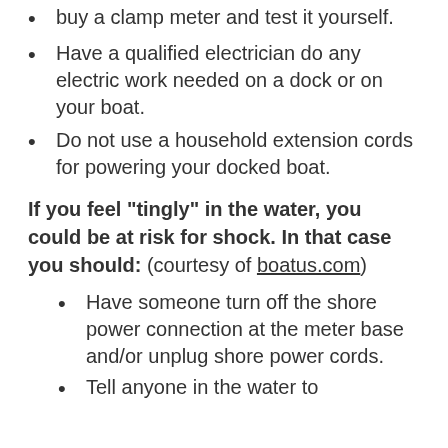buy a clamp meter and test it yourself.
Have a qualified electrician do any electric work needed on a dock or on your boat.
Do not use a household extension cords for powering your docked boat.
If you feel "tingly" in the water, you could be at risk for shock. In that case you should: (courtesy of boatus.com)
Have someone turn off the shore power connection at the meter base and/or unplug shore power cords.
Tell anyone in the water to